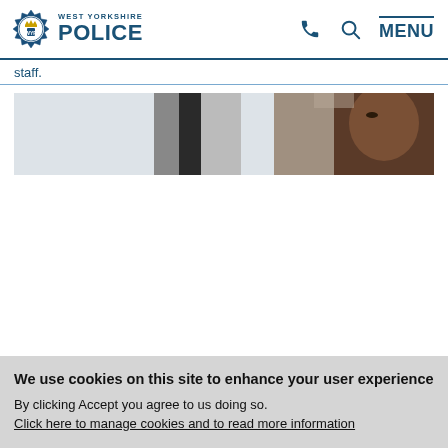WEST YORKSHIRE POLICE
staff.
[Figure (photo): A close-up photo of a person, partially visible, against a light blurred background with dark vertical element.]
We use cookies on this site to enhance your user experience
By clicking Accept you agree to us doing so. Click here to manage cookies and to read more information